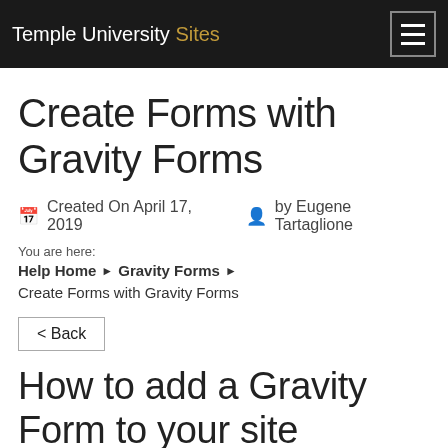Temple University Sites
Create Forms with Gravity Forms
Created On April 17, 2019  by Eugene Tartaglione
You are here:
Help Home ► Gravity Forms ► Create Forms with Gravity Forms
< Back
How to add a Gravity Form to your site
In the next few Plugin...